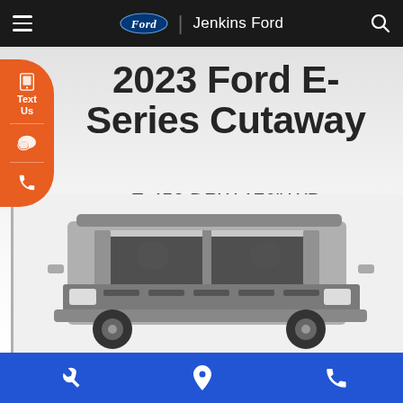Jenkins Ford
2023 Ford E-Series Cutaway
E-450 DRW 176" WB
MSRP: $38,565
[Figure (photo): Front view of a 2023 Ford E-Series Cutaway van cab in gray/black color]
Service | Location | Phone